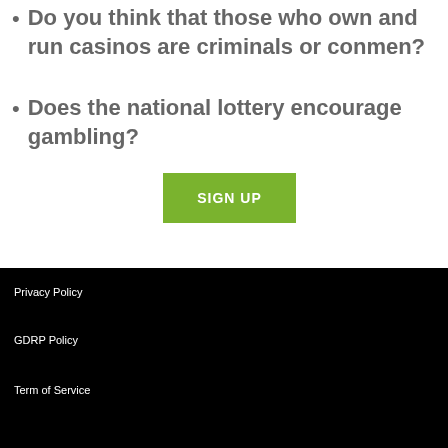Do you think that those who own and run casinos are criminals or conmen?
Does the national lottery encourage gambling?
[Figure (other): Green SIGN UP button]
Privacy Policy
GDRP Policy
Term of Service